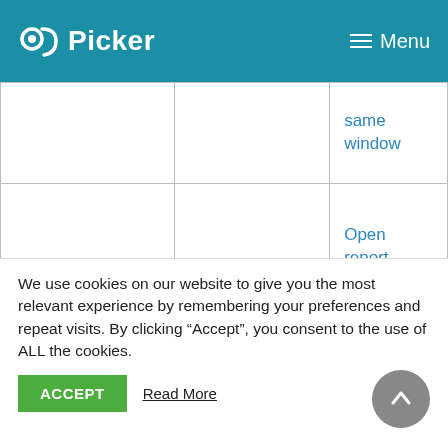CQC Picker — Menu
|  |  | same window |
| NHS West Essex CCG | 07H | Open report in the same window |
| NHS West |  | Open report |
We use cookies on our website to give you the most relevant experience by remembering your preferences and repeat visits. By clicking “Accept”, you consent to the use of ALL the cookies.
ACCEPT   Read More